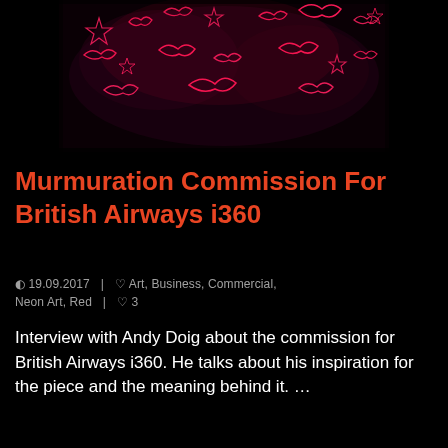[Figure (photo): Neon art installation showing glowing red/pink outlines of birds and star shapes against a dark background, ceiling-mounted display]
Murmuration Commission For British Airways i360
🕐 19.09.2017  |  ♡ Art, Business, Commercial, Neon Art, Red  |  ♡ 3
Interview with Andy Doig about the commission for British Airways i360. He talks about his inspiration for the piece and the meaning behind it. …